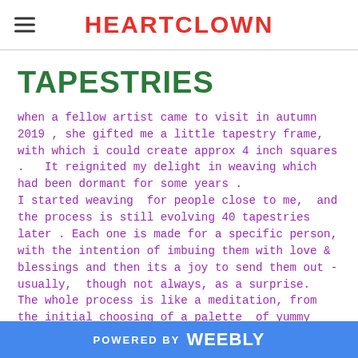HEARTCLOWN
TAPESTRIES
when a fellow artist came to visit in autumn 2019 , she gifted me a little tapestry frame, with which i could create approx 4 inch squares .  It reignited my delight in weaving which had been dormant for some years . I started weaving for people close to me,  and the process is still evolving 40 tapestries later . Each one is made for a specific person, with the intention of imbuing them with love & blessings and then its a joy to send them out - usually,  though not always, as a surprise.  The whole process is like a meditation, from the initial choosing of a palette  of yummy colours through the endless possible variations of patterns and designs. The process acquired a new meaning in lockdown too,  to
POWERED BY weebly